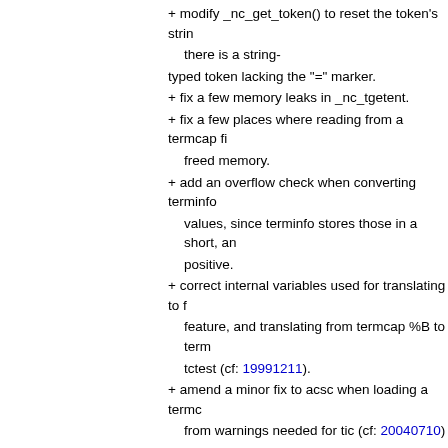+ modify _nc_get_token() to reset the token's string there is a string-typed token lacking the "=" marker.
+ fix a few memory leaks in _nc_tgetent.
+ fix a few places where reading from a termcap file freed memory.
+ add an overflow check when converting terminfo values, since terminfo stores those in a short, and positive.
+ correct internal variables used for translating to feature, and translating from termcap %B to term tctest (cf: 19991211).
+ amend a minor fix to acsc when loading a termc from warnings needed for tic (cf: 20040710)
+ modify logic in _nc_read_entry() and _nc_read_ a termcap file to be handled via TERMINFO_DIR
+ modify _nc_infotocap() to include non-mandatory padding when translating to termcap.
+ modify _nc_read_termcap_entry(), passing a fla getcap is used, to reduce interactive warning me
11 years ago     ncurses 5.9 - patch 20110723
commit | commitdiff | tree   Thomas E. Dickey [Sun, 24 Jul 2011 00:36:27 +0000 (00:36 +0000)]
ncurses 5.9 - patch 20110723